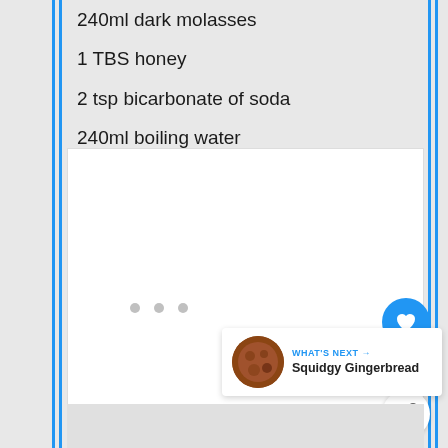240ml dark molasses
1 TBS honey
2 tsp bicarbonate of soda
240ml boiling water
2 large free range eggs, beaten
[Figure (photo): White image area with three dots indicating a carousel/slideshow, a heart/like button, share button, and a 'What's Next: Squidgy Gingerbread' promo card with thumbnail]
WHAT'S NEXT → Squidgy Gingerbread